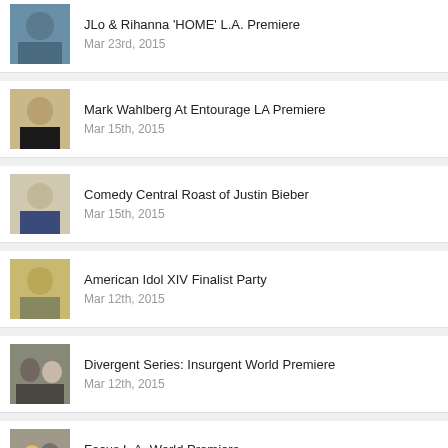JLo & Rihanna 'HOME' L.A. Premiere
Mar 23rd, 2015
Mark Wahlberg At Entourage LA Premiere
Mar 15th, 2015
Comedy Central Roast of Justin Bieber
Mar 15th, 2015
American Idol XIV Finalist Party
Mar 12th, 2015
Divergent Series: Insurgent World Premiere
Mar 12th, 2015
Focus L.A. World Premiere
Feb 25th, 2015
OSCAR Awards Red Carpet Arrivals 2015
Feb 24th, 2015